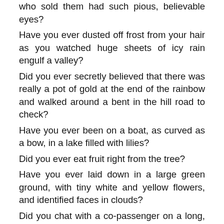Did you ever buy a dozen candles because the old man who sold them had such pious, believable eyes?
Have you ever dusted off frost from your hair as you watched huge sheets of icy rain engulf a valley?
Did you ever secretly believed that there was really a pot of gold at the end of the rainbow and walked around a bent in the hill road to check?
Have you ever been on a boat, as curved as a bow, in a lake filled with lilies?
Did you ever eat fruit right from the tree?
Have you ever laid down in a large green ground, with tiny white and yellow flowers, and identified faces in clouds?
Did you chat with a co-passenger on a long, train journey and he/she’s now one of your closest friends?
Do you have a restless soul and impatient feet?
Do you need any more reasons?
You’ve just read a post from ‘Dialect Of Heart’. Kindly